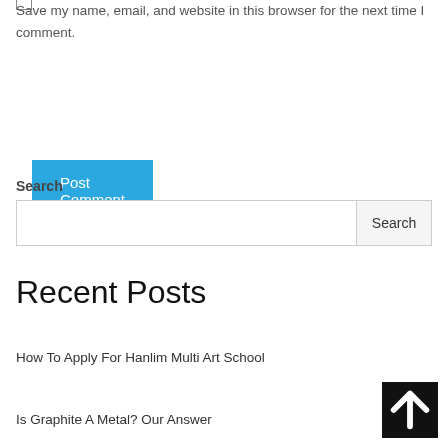Save my name, email, and website in this browser for the next time I comment.
Post Comment
Search
Recent Posts
How To Apply For Hanlim Multi Art School
Is Graphite A Metal? Our Answer